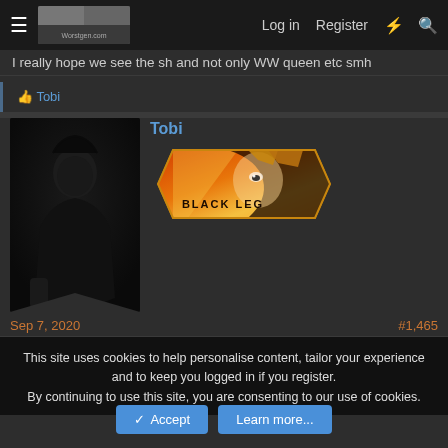Log in  Register
I really hope we see the sh and not only WW queen etc smh
Tobi
Tobi
[Figure (illustration): Black Leg anime badge/banner with orange and red color scheme showing an anime character face with text BLACKLEG]
Sep 7, 2020
#1,465
This site uses cookies to help personalise content, tailor your experience and to keep you logged in if you register.
By continuing to use this site, you are consenting to our use of cookies.
Accept  Learn more...